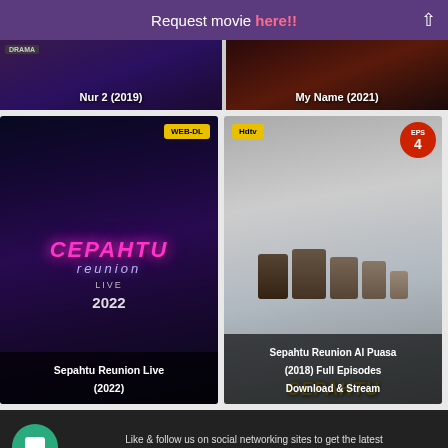Request movie here!!
[Figure (photo): Movie card: Nur 2 (2019) - dark purple background with drama label]
[Figure (photo): Movie card: My Name (2021) - dark action background]
[Figure (photo): Movie card: Sepahtu Reunion Live (2022) - WEB-DL tag, neon pink logo on dark background]
[Figure (photo): Movie card: Sepahtu Reunion Al Puasa (2018) Full Episodes Download & Stream - Hdtv tag, EPS 4 badge, group photo]
Like & follow us on social networking sites to get the latest updates on movies, tv-series and news
[Figure (logo): Facebook icon/logo button]